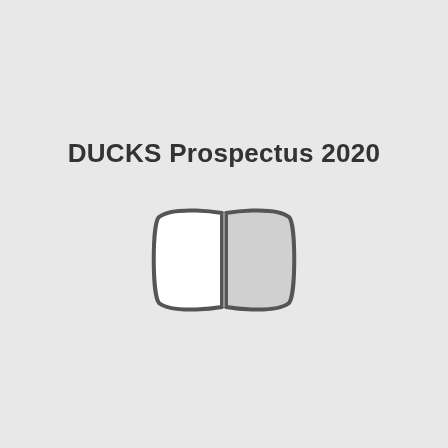DUCKS Prospectus 2020
[Figure (illustration): Open book icon outline with two pages, left page white and right page light gray, rounded rectangular shape with curved spine]